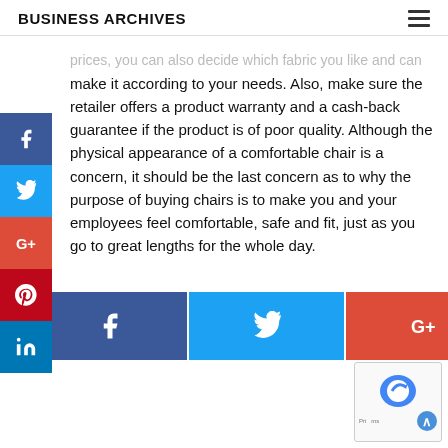BUSINESS ARCHIVES
prices, you can also decide which fabric you like and can make it according to your needs. Also, make sure the retailer offers a product warranty and a cash-back guarantee if the product is of poor quality. Although the physical appearance of a comfortable chair is a concern, it should be the last concern as to why the purpose of buying chairs is to make you and your employees feel comfortable, safe and fit, just as you go to great lengths for the whole day.
[Figure (infographic): Social media share buttons bar at bottom: Facebook (dark blue), Twitter (light blue), Google+ (red-orange), Pinterest (dark red), LinkedIn (medium blue)]
[Figure (other): reCAPTCHA widget in bottom right corner with arrow button]